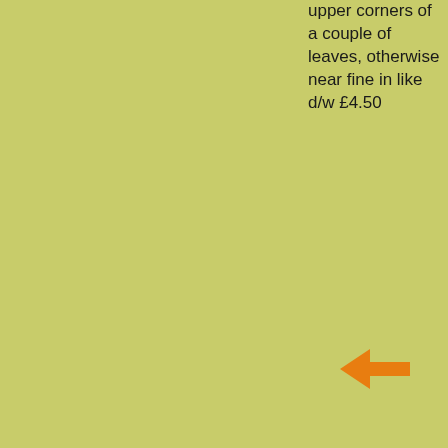upper corners of a couple of leaves, otherwise near fine in like d/w £4.50
[Figure (other): Orange left-pointing arrow icon]